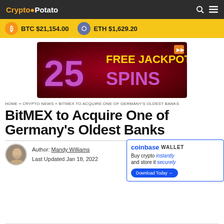CryptoPotato
BTC $21,154.00   ETH $1,629.20
[Figure (illustration): Casino advertisement banner: '25 FREE JACKPOT SPINS' in yellow and purple text on dark red radial background]
HOME » CRYPTO NEWS » BITMEX TO ACQUIRE ONE OF GERMANY'S OLDEST BANKS
BitMEX to Acquire One of Germany's Oldest Banks
Author: Mandy Williams
Last Updated Jan 18, 2022
[Figure (illustration): Coinbase Wallet advertisement: 'coinbase WALLET – Buy crypto instantly and store it securely – Download Today →']